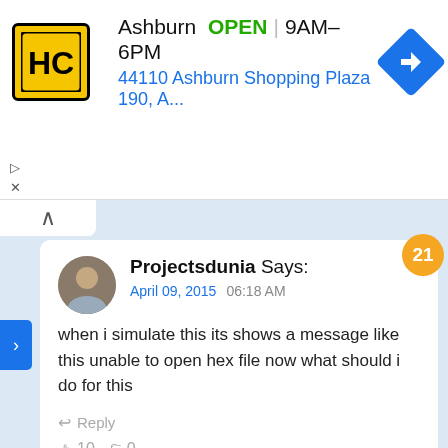[Figure (other): Advertisement banner: HC logo (yellow/black), Ashburn OPEN 9AM-6PM, 44110 Ashburn Shopping Plaza 190, A..., navigation arrow icon]
Projectsdunia Says: April 09, 2015  06:18 AM
when i simulate this its shows a message like this unable to open hex file now what should i do for this
Reply
10  0
Arghavan Says: